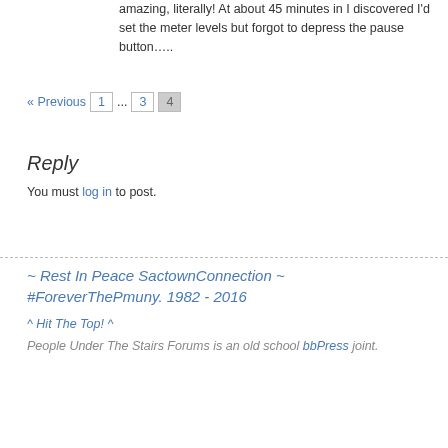amazing, literally! At about 45 minutes in I discovered I'd set the meter levels but forgot to depress the pause button.....
« Previous  1  ...  3  4
Reply
You must log in to post.
~ Rest In Peace SactownConnection ~ #ForeverThePmuny. 1982 - 2016
^ Hit The Top! ^
People Under The Stairs Forums is an old school bbPress joint.